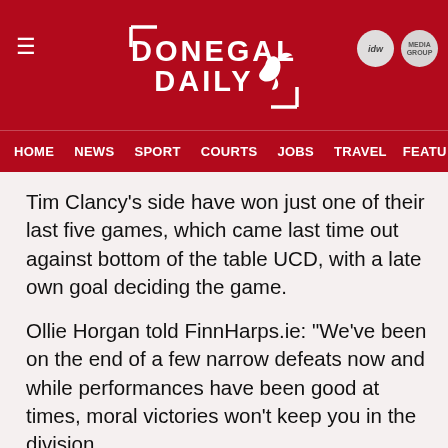DONEGAL DAILY
HOME  NEWS  SPORT  COURTS  JOBS  TRAVEL  FEATU
Tim Clancy’s side have won just one of their last five games, which came last time out against bottom of the table UCD, with a late own goal deciding the game.
Ollie Horgan told FinnHarps.ie: “We’ve been on the end of a few narrow defeats now and while performances have been good at times, moral victories won’t keep you in the division.
“The reality is we need to start putting points on the board or we’ll find ourselves cut adrift.